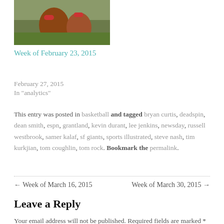[Figure (photo): Photo of football players on a field, partial view at top of page]
Week of February 23, 2015
February 27, 2015
In "analytics"
This entry was posted in basketball and tagged bryan curtis, deadspin, dean smith, espn, grantland, kevin durant, lee jenkins, newsday, russell westbrook, samer kalaf, sf giants, sports illustrated, steve nash, tim kurkjian, tom coughlin, tom rock. Bookmark the permalink.
← Week of March 16, 2015
Week of March 30, 2015 →
Leave a Reply
Your email address will not be published. Required fields are marked *